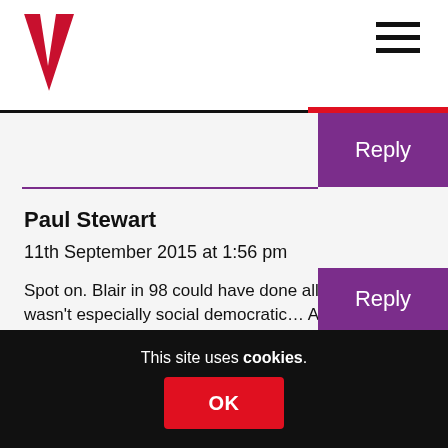Bella Caledonia logo and navigation
Paul Stewart
11th September 2015 at 1:56 pm
Spot on. Blair in 98 could have done all that and it wasn't especially social democratic… And they abjured any minor tinkering with the British state. Proving Miliband's injunction all the way.
This site uses cookies.
OK